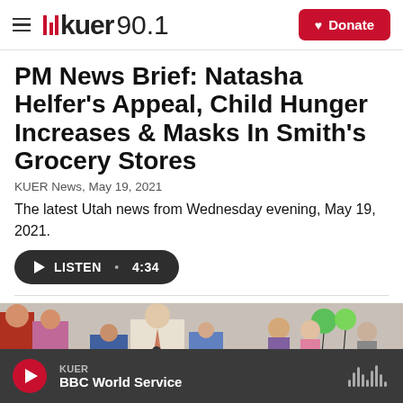KUER 90.1 | Donate
PM News Brief: Natasha Helfer's Appeal, Child Hunger Increases & Masks In Smith's Grocery Stores
KUER News, May 19, 2021
The latest Utah news from Wednesday evening, May 19, 2021.
LISTEN • 4:34
[Figure (photo): Group of people outdoors, a man in a beige suit at a podium/microphone surrounded by children and adults, with balloons visible in the background]
KUER — BBC World Service